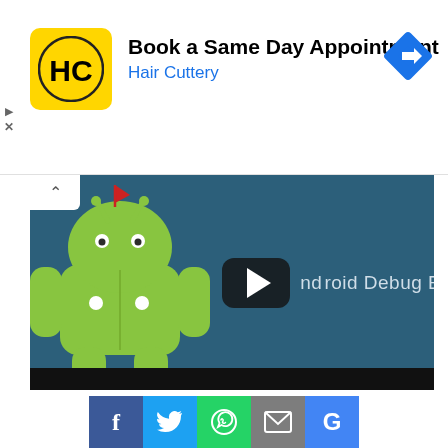[Figure (screenshot): Hair Cuttery advertisement banner: logo (HC in yellow circle on yellow square background), text 'Book a Same Day Appointment' and 'Hair Cuttery' in blue, blue diamond navigation icon on right]
[Figure (screenshot): YouTube video thumbnail showing Android Debug Bridge tutorial with Android robot mascot (green) and play button overlay, text 'Android Debug Bridge']
FLASH FASTBOOT ROM ON XIAOMI PHONE USING MI PC
[Figure (infographic): Social share buttons row: Facebook (f), Twitter (bird), WhatsApp (phone), Email (envelope), Google (G)]